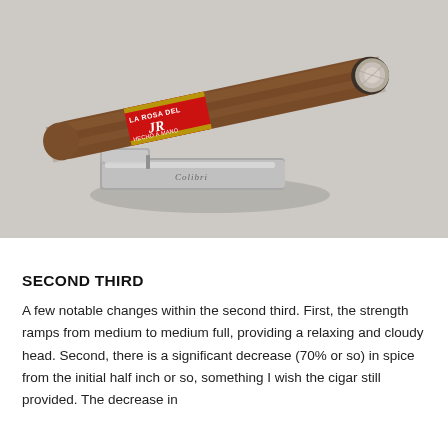[Figure (photo): A brown cigar with a red and gold La Rosa Del Monte band, resting diagonally on top of a silver Colibri lighter/cutter, against a light gray background. The cigar's lit end shows white ash.]
SECOND THIRD
A few notable changes within the second third. First, the strength ramps from medium to medium full, providing a relaxing and cloudy head. Second, there is a significant decrease (70% or so) in spice from the initial half inch or so, something I wish the cigar still provided. The decrease in